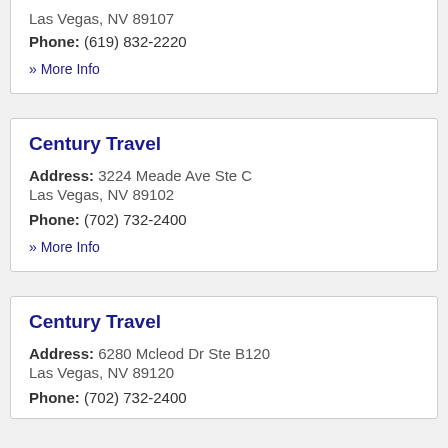Las Vegas, NV 89107
Phone: (619) 832-2220
» More Info
Century Travel
Address: 3224 Meade Ave Ste C
Las Vegas, NV 89102
Phone: (702) 732-2400
» More Info
Century Travel
Address: 6280 Mcleod Dr Ste B120
Las Vegas, NV 89120
Phone: (702) 732-2400